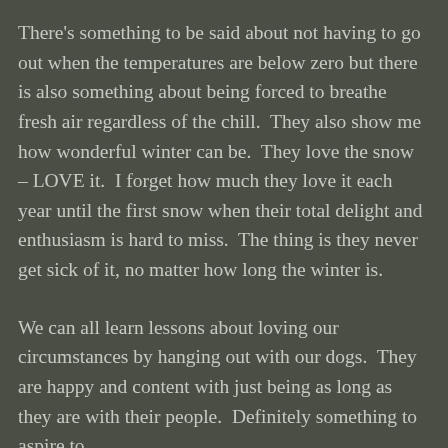There's something to be said about not having to go out when the temperatures are below zero but there is also something about being forced to breathe fresh air regardless of the chill.  They also show me how wonderful winter can be.  They love the snow – LOVE it.  I forget how much they love it each year until the first snow when their total delight and enthusiasm is hard to miss.  The thing is they never get sick of it, no matter how long the winter is.
We can all learn lessons about loving our circumstances by hanging out with our dogs.  They are happy and content with just being as long as they are with their people.  Definitely something to aspire to.